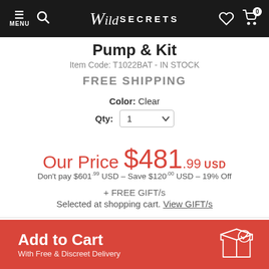MENU | Search | Wild SECRETS | Wishlist | Cart (0)
Pump & Kit
Item Code: T1022BAT - IN STOCK
FREE SHIPPING
Color: Clear
Qty: 1
Our Price $481.99 USD
Don't pay $601.99 USD – Save $120.00 USD – 19% Off
+ FREE GIFT/s
Selected at shopping cart. View GIFT/s
Add to Cart
With Free & Discreet Delivery